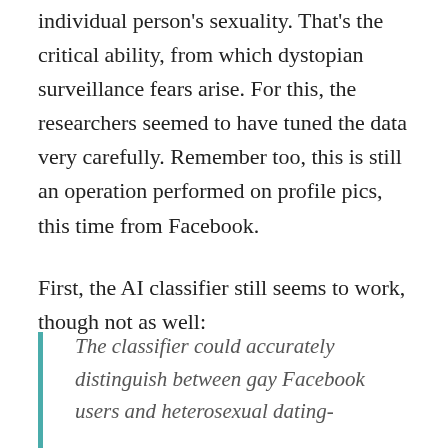individual person's sexuality. That's the critical ability, from which dystopian surveillance fears arise. For this, the researchers seemed to have tuned the data very carefully. Remember too, this is still an operation performed on profile pics, this time from Facebook.
First, the AI classifier still seems to work, though not as well:
The classifier could accurately distinguish between gay Facebook users and heterosexual dating-